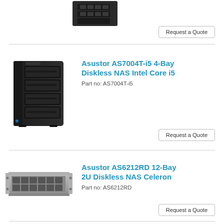[Figure (photo): Partial top view of a dark tower NAS device (cropped, top portion only)]
Request a Quote
[Figure (photo): Asustor AS7004T-i5 4-bay tower NAS device, dark grey/black chassis with 4 drive bays]
Asustor AS7004T-i5 4-Bay Diskless NAS Intel Core i5
Part no: AS7004T-i5
Request a Quote
[Figure (photo): Asustor AS6212RD 12-bay 2U rackmount NAS device, silver/grey 2U form factor with 12 drive bays]
Asustor AS6212RD 12-Bay 2U Diskless NAS Celeron
Part no: AS6212RD
Request a Quote